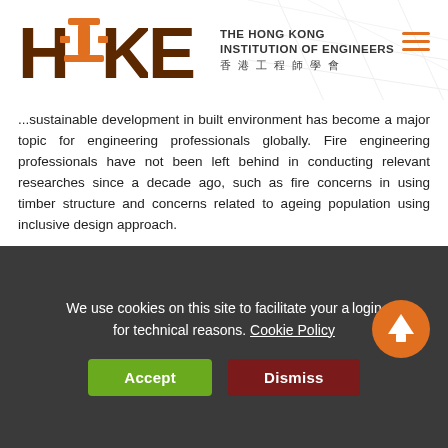[Figure (logo): HKIE logo with orange Chinese character and text 'THE HONG KONG INSTITUTION OF ENGINEERS 香港工程師學會']
...sustainable development in built environment has become a major topic for engineering professionals globally. Fire engineering professionals have not been left behind in conducting relevant researches since a decade ago, such as fire concerns in using timber structure and concerns related to ageing population using inclusive design approach.
Catastrophic fires also remind fire engineering professionals not to stop acquiring knowledge and better ideas, as Fire Engineers ought to be well prepared to face unprecedented matters and events. With the London Grenfell Tower fire, facade fire prevention has become a subject...
We use cookies on this site to facilitate your a... login for technical reasons. Cookie Policy
Accept
Dismiss